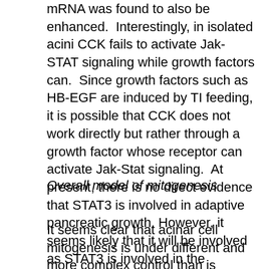mRNA was found to also be enhanced.  Interestingly, in isolated acini CCK fails to activate Jak-STAT signaling while growth factors can.  Since growth factors such as HB-EGF are induced by TI feeding, it is possible that CCK does not work directly but rather through a growth factor whose receptor can activate Jak-Stat signaling.  At present, there is no direct evidence that STAT3 is involved in adaptive pancreatic growth. However, it seems likely that it will be involved as STAT3 is involved in the malignant transformation of acinar cells (45, 96). Also, STAT5 and Socs3 have been shown to regulate growth of pancreatic islet beta cells (75).
Overall model of mitogenesis
It seems clear that acinar cell mitogenesis is under different and more complex control than is secretion of digestive enzymes.  Blockage of three different